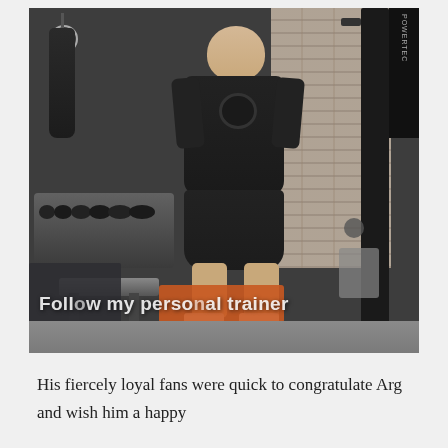[Figure (photo): A person exercising in a home gym, holding a kettlebell at chest height. They are wearing a dark t-shirt and dark shorts with white and colorful sneakers, standing on an orange mat. The gym has visible dumbbells on a rack, a punching bag, a Powertec cable machine, and a brick wall in the background. An overlay text at the bottom reads 'Follow my personal trainer'.]
His fiercely loyal fans were quick to congratulate Arg and wish him a happy